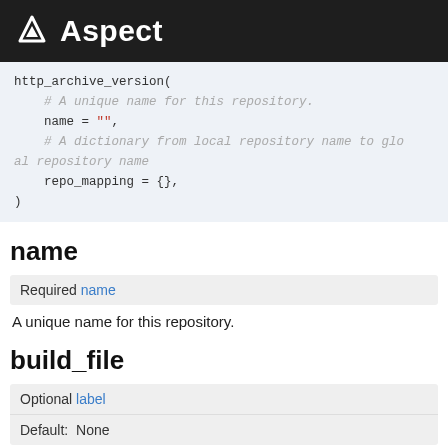Aspect
[Figure (screenshot): Code block showing http_archive_version( function with name and repo_mapping parameters]
name
| Required name |
| A unique name for this repository. |
build_file
| Optional label |
| Default:  None |
The BUILD file to symlink into the created repository.